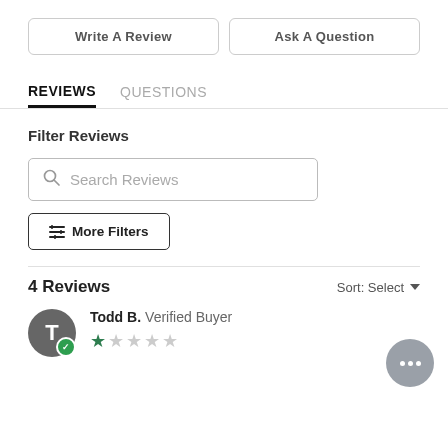Write A Review
Ask A Question
REVIEWS
QUESTIONS
Filter Reviews
Search Reviews
≡↕ More Filters
4 Reviews
Sort: Select
Todd B. Verified Buyer